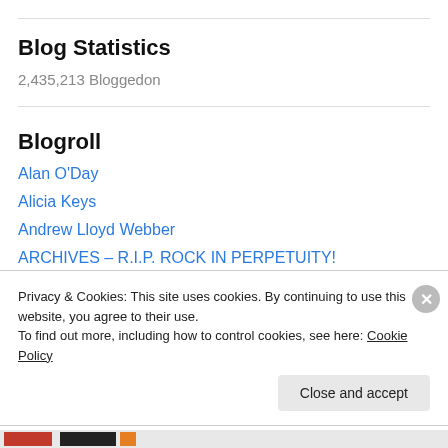Blog Statistics
2,435,213 Bloggedon
Blogroll
Alan O'Day
Alicia Keys
Andrew Lloyd Webber
ARCHIVES – R.I.P. ROCK IN PERPETUITY!
Art Munson
Privacy & Cookies: This site uses cookies. By continuing to use this website, you agree to their use.
To find out more, including how to control cookies, see here: Cookie Policy
Close and accept